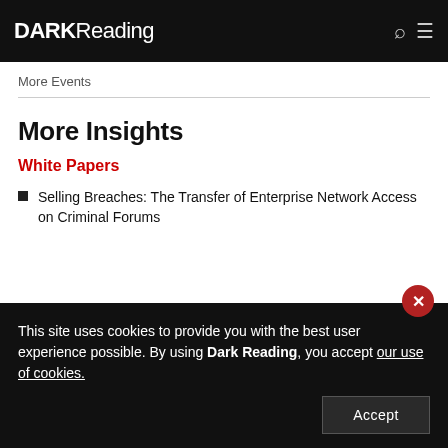DARK Reading
More Events
More Insights
White Papers
Selling Breaches: The Transfer of Enterprise Network Access on Criminal Forums
This site uses cookies to provide you with the best user experience possible. By using Dark Reading, you accept our use of cookies.